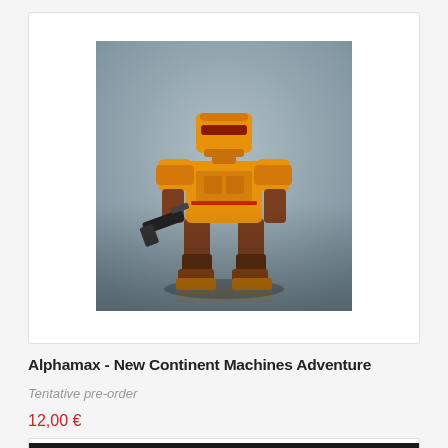[Figure (photo): Product photo of an orange/yellow armored robot action figure (mech suit) posed in a standing stance, holding a gun, on a grey background.]
Alphamax - New Continent Machines Adventure
Tentative pre-order
12,00 €
[Figure (photo): Partial view of a second product card showing a dark image at the bottom of the page.]